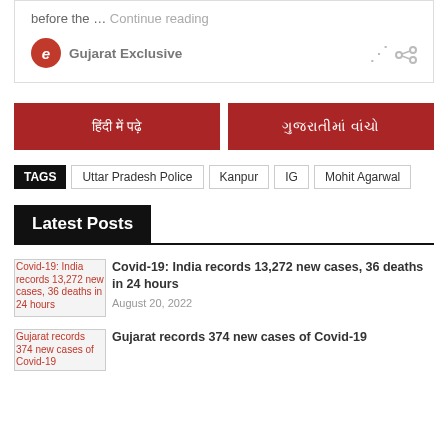before the … Continue reading
Gujarat Exclusive
हिंदी में पढ़े
ગુજરાતીમાં વાંચો
TAGS: Uttar Pradesh Police | Kanpur | IG | Mohit Agarwal
Latest Posts
Covid-19: India records 13,272 new cases, 36 deaths in 24 hours
August 20, 2022
Gujarat records 374 new cases of Covid-19